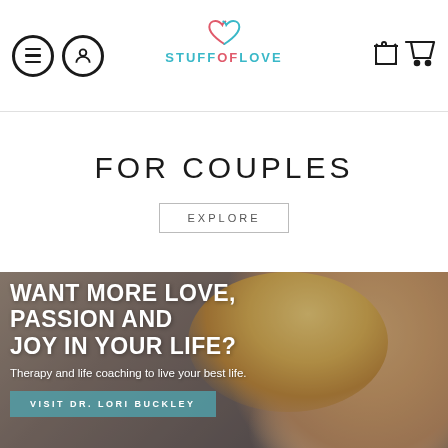STUFFOFLOVE — navigation header with menu, user, logo, and cart icons
FOR COUPLES
EXPLORE
[Figure (photo): Hero banner showing a smiling woman with curly blonde hair against a blurred background, with overlaid text about therapy and life coaching]
WANT MORE LOVE, PASSION AND JOY IN YOUR LIFE?
Therapy and life coaching to live your best life.
VISIT DR. LORI BUCKLEY